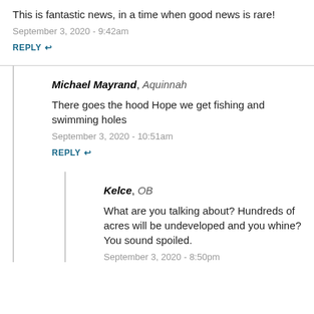This is fantastic news, in a time when good news is rare!
September 3, 2020 - 9:42am
REPLY
Michael Mayrand, Aquinnah
There goes the hood Hope we get fishing and swimming holes
September 3, 2020 - 10:51am
REPLY
Kelce, OB
What are you talking about? Hundreds of acres will be undeveloped and you whine? You sound spoiled.
September 3, 2020 - 8:50pm